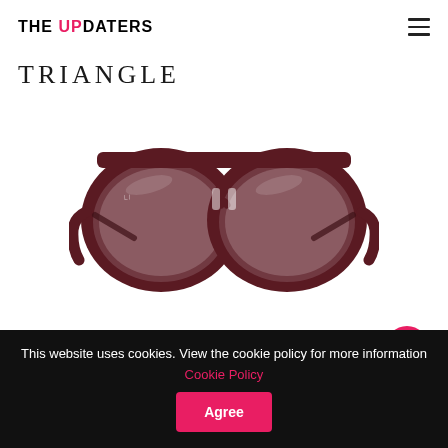THE UPDATERS
TRIANGLE
[Figure (photo): Pair of dark burgundy/maroon oversized round eyeglasses frames with clear lenses, photographed on white background]
This website uses cookies. View the cookie policy for more information Cookie Policy  Agree